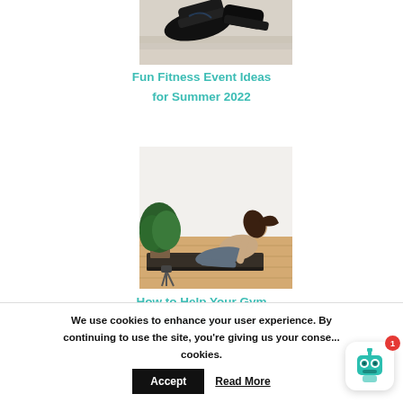[Figure (photo): Close-up of shoes/sneakers on sand, partially cropped at top]
Fun Fitness Event Ideas
for Summer 2022
[Figure (photo): Woman doing yoga/stretching pose on a black mat, with a green plant in background, wooden floor]
How to Help Your Gym
to Stand Out From...
We use cookies to enhance your user experience. By continuing to use the site, you're giving us your conse... cookies.
Accept
Read More